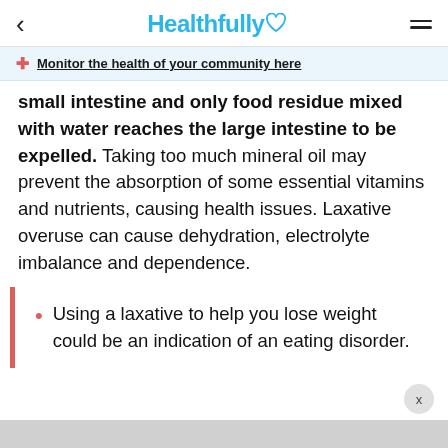< Healthfully ♡ ≡
Monitor the health of your community here
small intestine and only food residue mixed with water reaches the large intestine to be expelled. Taking too much mineral oil may prevent the absorption of some essential vitamins and nutrients, causing health issues. Laxative overuse can cause dehydration, electrolyte imbalance and dependence.
Using a laxative to help you lose weight could be an indication of an eating disorder.